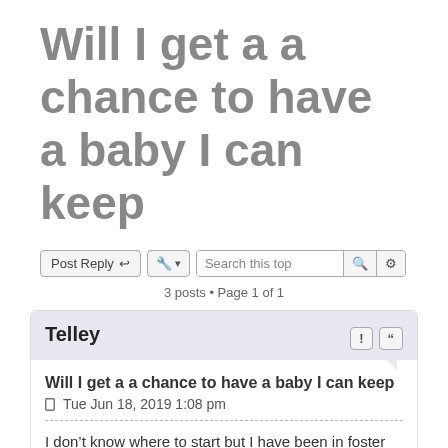Will I get a a chance to have a baby I can keep
Post Reply  [tool]  Search this top  [search icon]  [settings icon]
3 posts • Page 1 of 1
Telley
Will I get a a chance to have a baby I can keep
Tue Jun 18, 2019 1:08 pm
I don't know where to start but I have been in foster care all my life and age of 6 years old I left care when I was 16 been living on my own since I